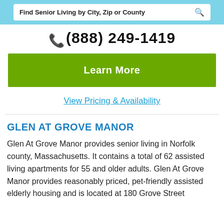Find Senior Living by City, Zip or County
(888) 249-1419
Learn More
View Pricing & Availability
GLEN AT GROVE MANOR
Glen At Grove Manor provides senior living in Norfolk county, Massachusetts. It contains a total of 62 assisted living apartments for 55 and older adults. Glen At Grove Manor provides reasonably priced, pet-friendly assisted elderly housing and is located at 180 Grove Street